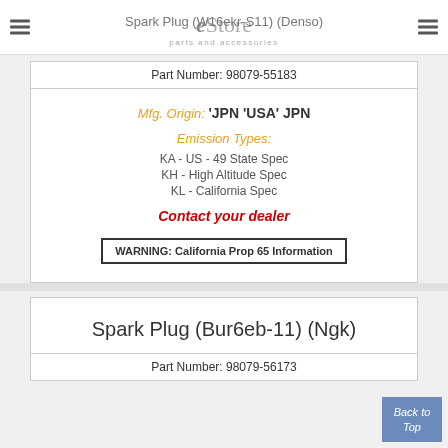eStore parts and accessories
Spark Plug (W16ekr-S11) (Denso)
Part Number: 98079-55183
Mfg. Origin: 'JPN 'USA' JPN
Emission Types:
KA - US - 49 State Spec
KH - High Altitude Spec
KL - California Spec
Contact your dealer
WARNING: California Prop 65 Information
Spark Plug (Bur6eb-11) (Ngk)
Part Number: 98079-56173